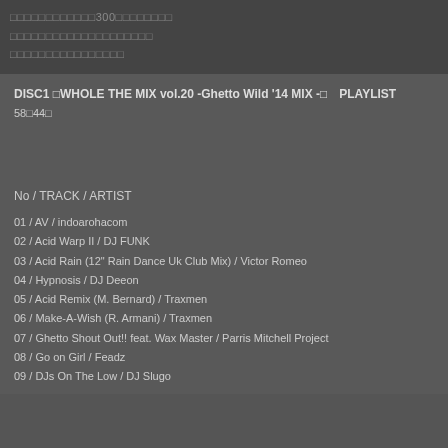□□□□□□□□□□□□300□□□□□□□□
□□□□□□□□□□□□□□□□□□□□
□□□□□□□□□□□□□□□□
DISC1 □WHOLE THE MIX vol.20 -Ghetto Wild '14 MIX -□　PLAYLIST
58□44□
No / TRACK / ARTIST
01 / AV / indoarohacom
02 / Acid Warp II / DJ FUNK
03 / Acid Rain (12" Rain Dance Uk Club Mix) / Victor Romeo
04 / Hypnosis / DJ Deeon
05 / Acid Remix (M. Bernard) / Traxmen
06 / Make-A-Wish (R. Armani) / Traxmen
07 / Ghetto Shout Out!! feat. Wax Master / Parris Mitchell Project
08 / Go on Girl / Feadz
09 / DJs On The Low / DJ Slugo